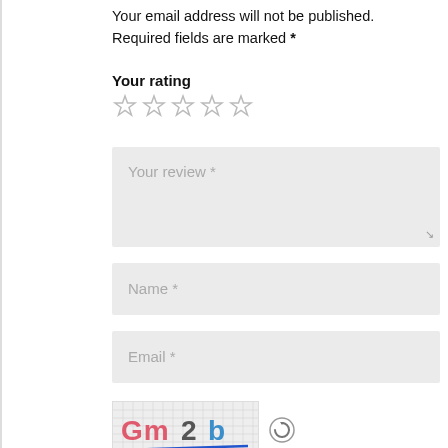Your email address will not be published. Required fields are marked *
Your rating
[Figure (other): Five empty star icons for rating]
[Figure (screenshot): Review form with textarea placeholder 'Your review *', name field, email field, CAPTCHA image showing 'Gm2b' with refresh icon, and CAPTCHA Code field]